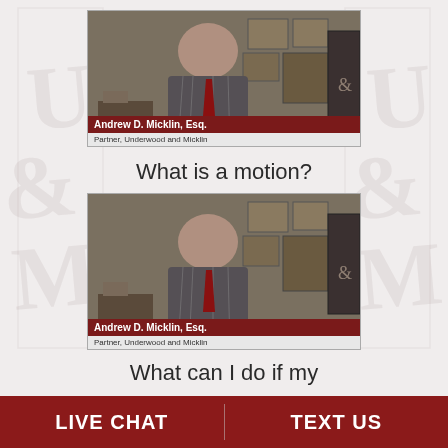[Figure (screenshot): Video thumbnail showing Andrew D. Micklin, Esq. seated at a desk in an office with framed certificates on the wall, wearing a pinstripe suit and red tie. Nameplate reads 'Andrew D. Micklin, Esq.' and 'Partner, Underwood and Micklin']
What is a motion?
[Figure (screenshot): Second video thumbnail showing Andrew D. Micklin, Esq. in the same setting. Nameplate reads 'Andrew D. Micklin, Esq.' and 'Partner, Underwood and Micklin']
What can I do if my
LIVE CHAT
TEXT US